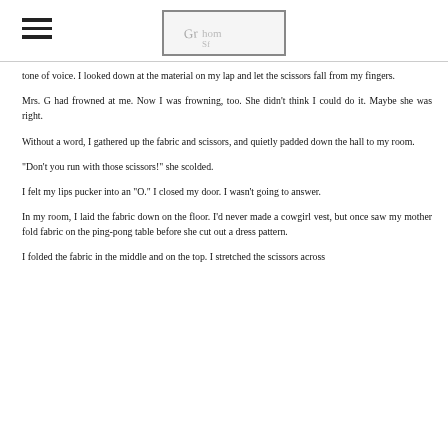[hamburger menu icon] [logo/signature box]
tone of voice. I looked down at the material on my lap and let the scissors fall from my fingers.
Mrs. G had frowned at me. Now I was frowning, too. She didn't think I could do it. Maybe she was right.
Without a word, I gathered up the fabric and scissors, and quietly padded down the hall to my room.
"Don't you run with those scissors!" she scolded.
I felt my lips pucker into an "O." I closed my door. I wasn't going to answer.
In my room, I laid the fabric down on the floor. I'd never made a cowgirl vest, but once saw my mother fold fabric on the ping-pong table before she cut out a dress pattern.
I folded the fabric...